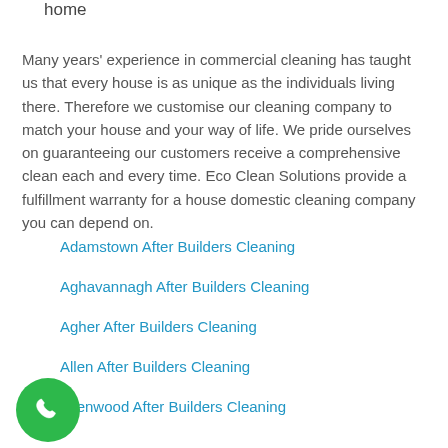home
Many years' experience in commercial cleaning has taught us that every house is as unique as the individuals living there. Therefore we customise our cleaning company to match your house and your way of life. We pride ourselves on guaranteeing our customers receive a comprehensive clean each and every time. Eco Clean Solutions provide a fulfillment warranty for a house domestic cleaning company you can depend on.
Adamstown After Builders Cleaning
Aghavannagh After Builders Cleaning
Agher After Builders Cleaning
Allen After Builders Cleaning
Allenwood After Builders Cleaning